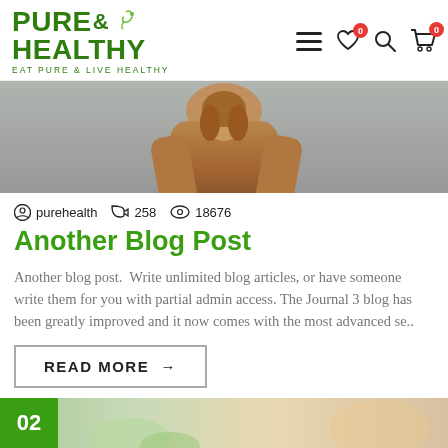PURE & HEALTHY — EAT PURE & LIVE HEALTHY
[Figure (photo): Partial view of a person in a brown/tan fur or suede jacket, back facing, with blurred grey background — hero blog post image]
purehealth  258  18676
Another Blog Post
Another blog post.  Write unlimited blog articles, or have someone write them for you with partial admin access. The Journal 3 blog has been greatly improved and it now comes with the most advanced se..
READ MORE →
[Figure (photo): Bottom strip showing beginning of next blog post with green date label '02' and a partial outdoor/nature background image]